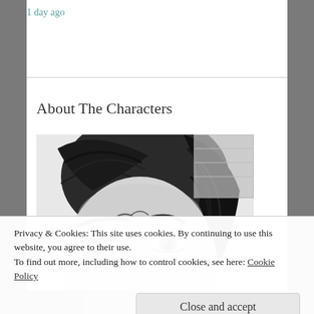1 day ago
About The Characters
[Figure (illustration): Pencil sketch drawing of a person's face with dark hair, intense eyes, and an expression showing bared teeth — close-up portrait, partially cropped at bottom]
Privacy & Cookies: This site uses cookies. By continuing to use this website, you agree to their use.
To find out more, including how to control cookies, see here: Cookie Policy
Close and accept